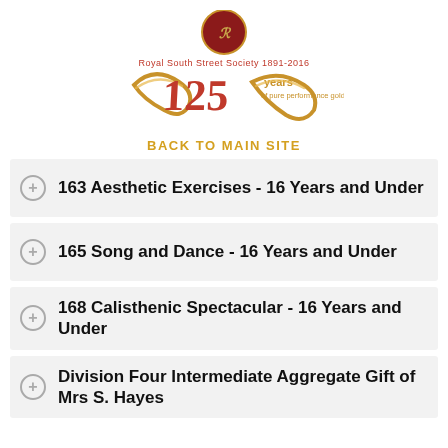[Figure (logo): Royal South Street Society 1891-2016 125 years of pure performance gold logo with decorative gold ribbon and crown emblem]
BACK TO MAIN SITE
163 Aesthetic Exercises - 16 Years and Under
165 Song and Dance - 16 Years and Under
168 Calisthenic Spectacular - 16 Years and Under
Division Four Intermediate Aggregate Gift of Mrs S. Hayes